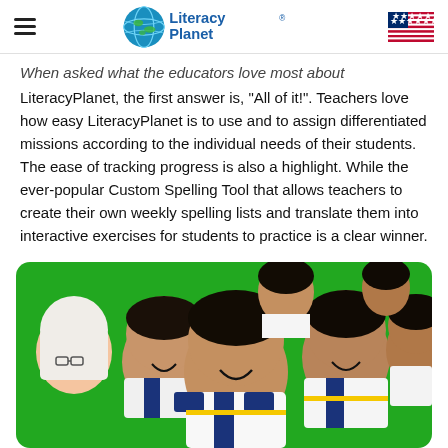LiteracyPlanet® [logo and navigation]
When asked what the educators love most about LiteracyPlanet, the first answer is, "All of it!". Teachers love how easy LiteracyPlanet is to use and to assign differentiated missions according to the individual needs of their students. The ease of tracking progress is also a highlight. While the ever-popular Custom Spelling Tool that allows teachers to create their own weekly spelling lists and translate them into interactive exercises for students to practice is a clear winner.
[Figure (photo): Group of school children in white and yellow uniforms smiling and laughing in front of a green background]